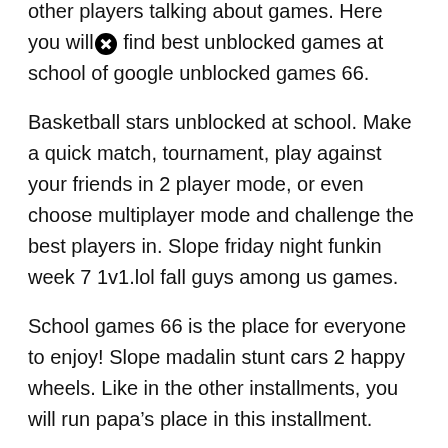other players talking about games. Here you will find best unblocked games at school of google unblocked games 66.
Basketball stars unblocked at school. Make a quick match, tournament, play against your friends in 2 player mode, or even choose multiplayer mode and challenge the best players in. Slope friday night funkin week 7 1v1.lol fall guys among us games.
School games 66 is the place for everyone to enjoy! Slope madalin stunt cars 2 happy wheels. Like in the other installments, you will run papa’s place in this installment.
Free unblocked games for school, play games that are not blocked by school addicting games online